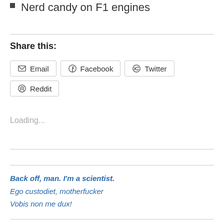Nerd candy on F1 engines
Share this:
Email  Facebook  Twitter  Reddit
Loading...
Back off, man. I'm a scientist.
Ego custodiet, motherfucker
Vobis non me dux!